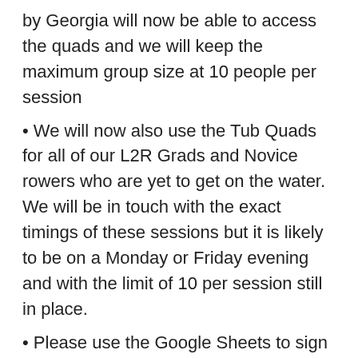by Georgia will now be able to access the quads and we will keep the maximum group size at 10 people per session
• We will now also use the Tub Quads for all of our L2R Grads and Novice rowers who are yet to get on the water.  We will be in touch with the exact timings of these sessions but it is likely to be on a Monday or Friday evening and with the limit of 10 per session still in place.
• Please use the Google Sheets to sign up for all water and land coached sessions in the normal way.
For any questions regarding these sessions please contact Georgia on members@fulhamreachboatclub.com
I'm holding back on having the eights out for the moment as I want to be sure we have safe processes in place with the doubles and quads before getting the